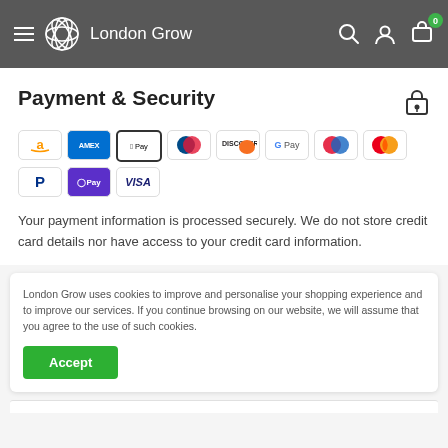London Grow — navigation header with hamburger menu, logo, search, account, and cart icons
Payment & Security
[Figure (other): Payment method icons: Amazon, Amex, Apple Pay, Diners Club, Discover, Google Pay, Maestro, Mastercard, PayPal, Apple Pay (OPay), Visa]
Your payment information is processed securely. We do not store credit card details nor have access to your credit card information.
London Grow uses cookies to improve and personalise your shopping experience and to improve our services. If you continue browsing on our website, we will assume that you agree to the use of such cookies.